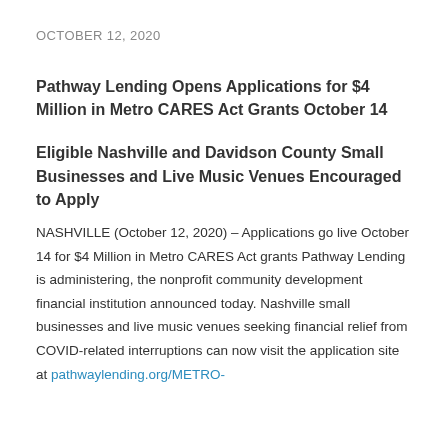OCTOBER 12, 2020
Pathway Lending Opens Applications for $4 Million in Metro CARES Act Grants October 14
Eligible Nashville and Davidson County Small Businesses and Live Music Venues Encouraged to Apply
NASHVILLE (October 12, 2020) – Applications go live October 14 for $4 Million in Metro CARES Act grants Pathway Lending is administering, the nonprofit community development financial institution announced today. Nashville small businesses and live music venues seeking financial relief from COVID-related interruptions can now visit the application site at pathwaylending.org/METRO-